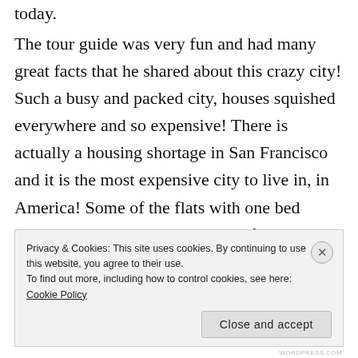today.
The tour guide was very fun and had many great facts that he shared about this crazy city! Such a busy and packed city, houses squished everywhere and so expensive! There is actually a housing shortage in San Francisco and it is the most expensive city to live in, in America! Some of the flats with one bed room, tiny kitchen and bathroom fetching $4,000 a month! We also learnt that people are not even allowed to be buried in the city as there is not enough space for a cemetery, they
Privacy & Cookies: This site uses cookies. By continuing to use this website, you agree to their use.
To find out more, including how to control cookies, see here: Cookie Policy
Close and accept